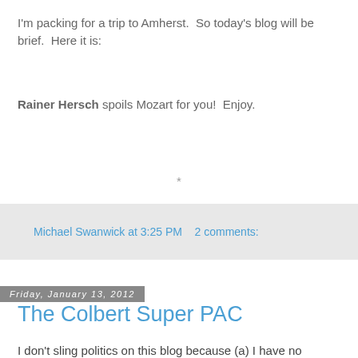I'm packing for a trip to Amherst.  So today's blog will be brief.  Here it is:
Rainer Hersch spoils Mozart for you!  Enjoy.
*
Michael Swanwick at 3:25 PM    2 comments:
Friday, January 13, 2012
The Colbert Super PAC
I don't sling politics on this blog because (a) I have no particular insight into them and (b) I have no desire to offend people who disagree with me politically, as many of my friends do.  But what Stephen Colbert is doing with his Super PAC has nothing to do with Right and Left partisan